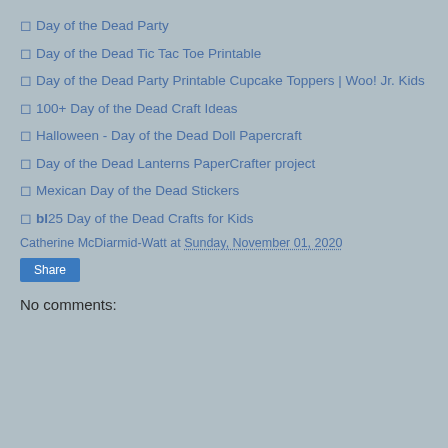Day of the Dead Party
Day of the Dead Tic Tac Toe Printable
Day of the Dead Party Printable Cupcake Toppers | Woo! Jr. Kids
100+ Day of the Dead Craft Ideas
Halloween - Day of the Dead Doll Papercraft
Day of the Dead Lanterns PaperCrafter project
Mexican Day of the Dead Stickers
bl25 Day of the Dead Crafts for Kids
Catherine McDiarmid-Watt at Sunday, November 01, 2020
Share
No comments: